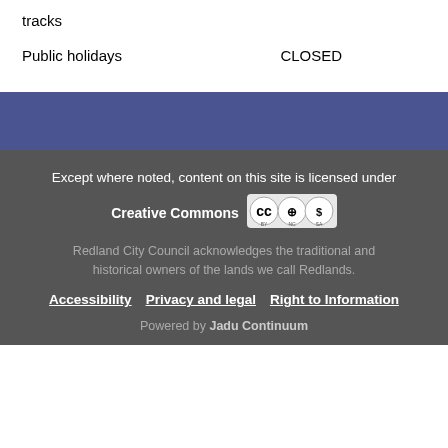| tracks |  |
| Public holidays | CLOSED |
Except where noted, content on this site is licensed under Creative Commons
[Figure (logo): Creative Commons BY NC SA license badge]
Redland City Council acknowledges the traditional and historical owners of the lands we call Redlands.
Accessibility | Privacy and legal | Right to Information
Powered by Jadu Continuum